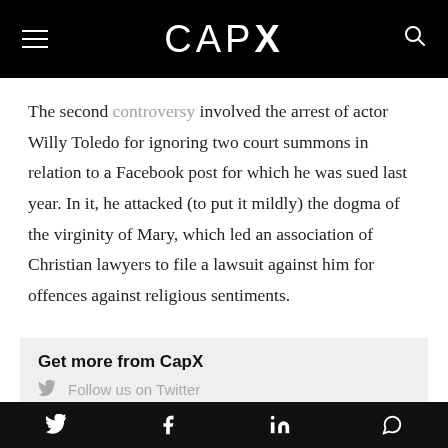CAPX
The second controversy involved the arrest of actor Willy Toledo for ignoring two court summons in relation to a Facebook post for which he was sued last year. In it, he attacked (to put it mildly) the dogma of the virginity of Mary, which led an association of Christian lawyers to file a lawsuit against him for offences against religious sentiments.
Get more from CapX
Follow us on Twitter
Twitter, Facebook, LinkedIn, WhatsApp social icons